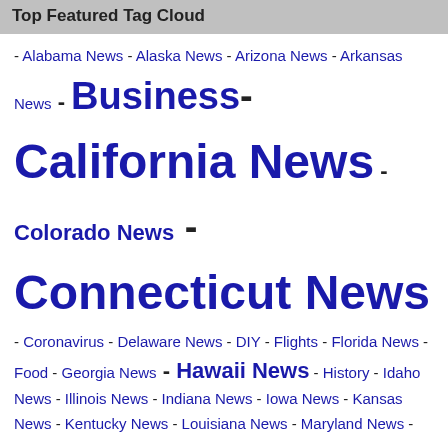Top Featured Tag Cloud
- Alabama News - Alaska News - Arizona News - Arkansas News - Business - California News - Colorado News - Connecticut News - Coronavirus - Delaware News - DIY - Flights - Florida News - Food - Georgia News - Hawaii News - History - Idaho News - Illinois News - Indiana News - Iowa News - Kansas News - Kentucky News - Louisiana News - Maryland News - Massachusetts News - Michigan News - Minnesota News - Mississippi News - Missouri News - Montana News - Nebraska